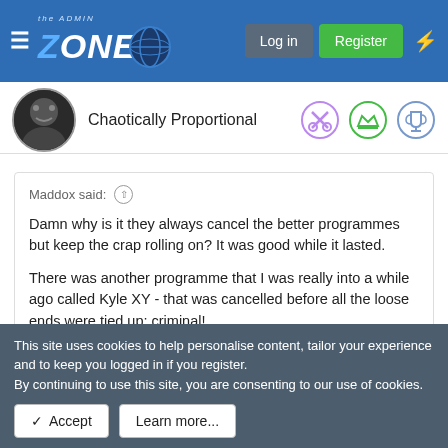the ADMIN ZONE — Log in | Register
Chaotically Proportional
[Figure (illustration): Three circular badge icons: a scissors/tools icon in purple, a crown icon in green, and a trophy icon in blue/purple]
Maddox said: ↑

Damn why is it they always cancel the better programmes but keep the crap rolling on? It was good while it lasted.

There was another programme that I was really into a while ago called Kyle XY - that was cancelled before all the loose ends were tied up; criminal!
Click to expand...
This site uses cookies to help personalise content, tailor your experience and to keep you logged in if you register.
By continuing to use this site, you are consenting to our use of cookies.